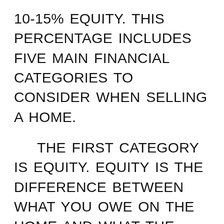10-15% EQUITY. THIS PERCENTAGE INCLUDES FIVE MAIN FINANCIAL CATEGORIES TO CONSIDER WHEN SELLING A HOME.
THE FIRST CATEGORY IS EQUITY. EQUITY IS THE DIFFERENCE BETWEEN WHAT YOU OWE ON THE HOME AND WHAT THE HOME IS WORTH. TO LEARN THE VALUE OF YOUR HOME, I SUGGEST YOU CONTACT A LOCAL REALTOR. ONCE THE HOME'S VALUE IS DETERMINED YOU WILL KNOW